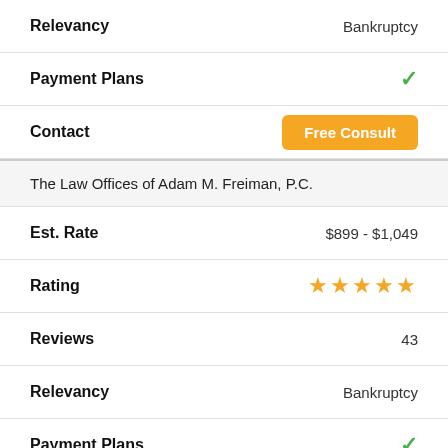| Field | Value |
| --- | --- |
| Relevancy | Bankruptcy |
| Payment Plans | ✓ |
| Contact | Free Consult |
| The Law Offices of Adam M. Freiman, P.C. |  |
| Est. Rate | $899 - $1,049 |
| Rating | ★★★★★ |
| Reviews | 43 |
| Relevancy | Bankruptcy |
| Payment Plans | ✓ |
| Contact | Free Consult |